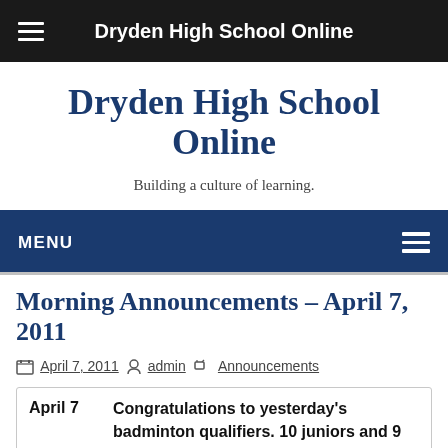Dryden High School Online
Dryden High School Online
Building a culture of learning.
MENU
Morning Announcements – April 7, 2011
April 7, 2011  admin  Announcements
April 7  Congratulations to yesterday's badminton qualifiers.  10 juniors and 9